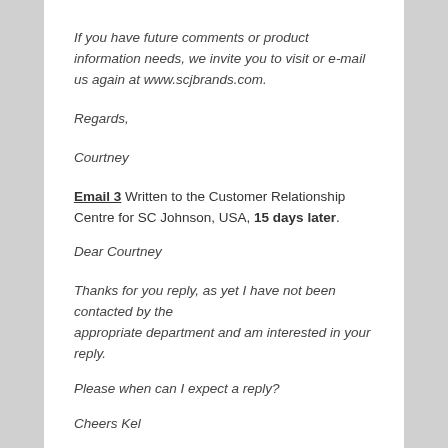If you have future comments or product information needs, we invite you to visit or e-mail us again at www.scjbrands.com.
Regards,
Courtney
Email 3 Written to the Customer Relationship Centre for SC Johnson, USA, 15 days later.
Dear Courtney
Thanks for you reply, as yet I have not been contacted by the appropriate department and am interested in your reply.
Please when can I expect a reply?
Cheers Kel